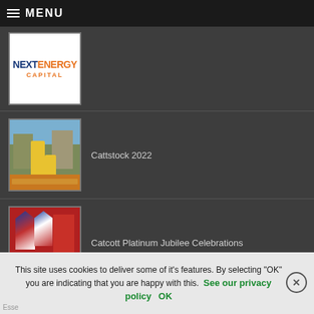☰ MENU
[Figure (logo): NextEnergy Capital logo - blue and orange text on white background]
[Figure (photo): Cattstock 2022 - outdoor event photo with people in yellow shirts at a fence]
Cattstock 2022
[Figure (photo): Catcott Platinum Jubilee Celebrations - Union Jack flags and decorations]
Catcott Platinum Jubilee Celebrations
This site uses cookies to deliver some of it's features. By selecting "OK" you are indicating that you are happy with this. See our privacy policy OK